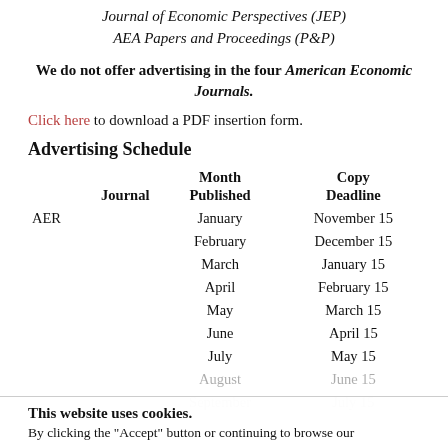Journal of Economic Perspectives (JEP)
AEA Papers and Proceedings (P&P)
We do not offer advertising in the four American Economic Journals.
Click here to download a PDF insertion form.
Advertising Schedule
| Journal | Month Published | Copy Deadline |
| --- | --- | --- |
| AER | January | November 15 |
|  | February | December 15 |
|  | March | January 15 |
|  | April | February 15 |
|  | May | March 15 |
|  | June | April 15 |
|  | July | May 15 |
|  | August | June 15 |
|  | September | July 15 |
This website uses cookies.
By clicking the "Accept" button or continuing to browse our